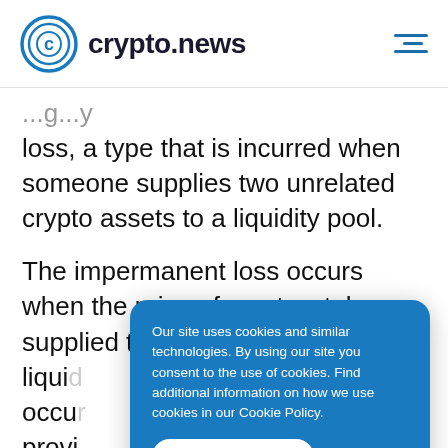crypto.news
loss, a type that is incurred when someone supplies two unrelated crypto assets to a liquidity pool.
The impermanent loss occurs when the price of any two tokens supplied to any liquidity pool... occurs... providers... would... liquidity pool and instead held their assets
Our site uses cookies and similar technologies. By using our site you consent to the use of cookies. Find additional information on how we use cookies in our Cookie Policy.
I accept cookies